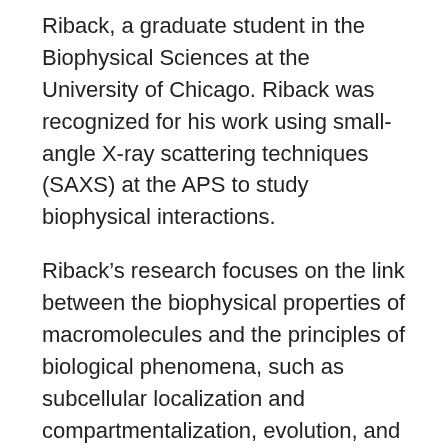Riback, a graduate student in the Biophysical Sciences at the University of Chicago. Riback was recognized for his work using small-angle X-ray scattering techniques (SAXS) at the APS to study biophysical interactions.
Riback’s research focuses on the link between the biophysical properties of macromolecules and the principles of biological phenomena, such as subcellular localization and compartmentalization, evolution, and fitness. By focusing on how proteins respond to an increase in temperature, Riback is working toward understanding the breadth of mechanisms utilized in the temperature-dependence and specificity of protein assembly. Ultimately, the goal is to extrapolate these mechanisms to other biological signals or stresses, so as to develop our understanding of the physical basis and cellular